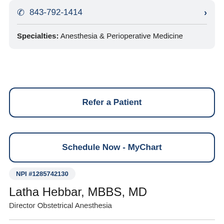843-792-1414
Specialties: Anesthesia & Perioperative Medicine
Refer a Patient
Schedule Now - MyChart
NPI #1285742130
Latha Hebbar, MBBS, MD
Director Obstetrical Anesthesia